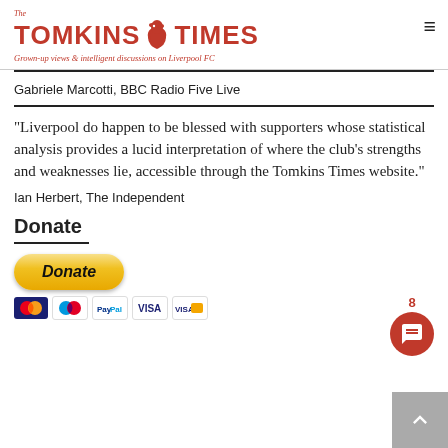The Tomkins Times - Grown-up views & intelligent discussions on Liverpool FC
Gabriele Marcotti, BBC Radio Five Live
"Liverpool do happen to be blessed with supporters whose statistical analysis provides a lucid interpretation of where the club's strengths and weaknesses lie, accessible through the Tomkins Times website."
Ian Herbert, The Independent
Donate
[Figure (other): PayPal Donate button and payment card icons (Mastercard, Maestro, PayPal, Visa, Delta)]